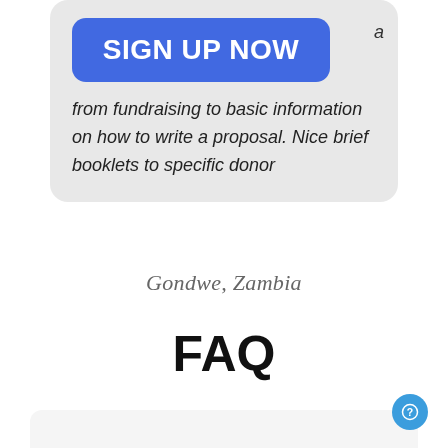[Figure (screenshot): Blue rounded button labeled SIGN UP NOW inside a gray card, with italic text 'from fundraising to basic information on how to write a proposal. Nice brief booklets to specific donor']
from fundraising to basic information on how to write a proposal. Nice brief booklets to specific donor
Gondwe, Zambia
FAQ